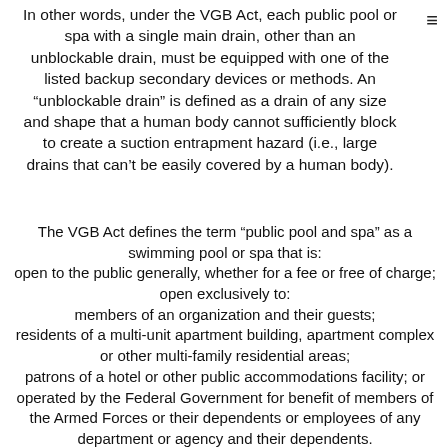In other words, under the VGB Act, each public pool or spa with a single main drain, other than an unblockable drain, must be equipped with one of the listed backup secondary devices or methods. An “unblockable drain” is defined as a drain of any size and shape that a human body cannot sufficiently block to create a suction entrapment hazard (i.e., large drains that can’t be easily covered by a human body).
The VGB Act defines the term “public pool and spa” as a swimming pool or spa that is: open to the public generally, whether for a fee or free of charge; open exclusively to: members of an organization and their guests; residents of a multi-unit apartment building, apartment complex or other multi-family residential areas; patrons of a hotel or other public accommodations facility; or operated by the Federal Government for benefit of members of the Armed Forces or their dependents or employees of any department or agency and their dependents.